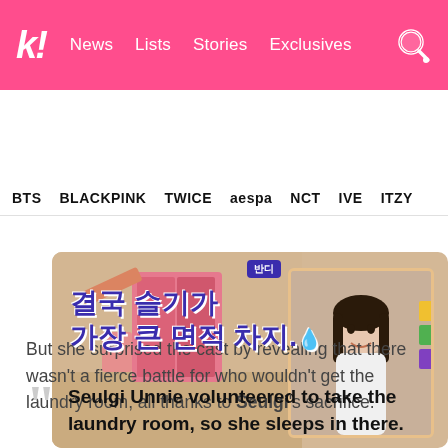k! News Lists Stories Exclusives
BTS BLACKPINK TWICE aespa NCT IVE ITZY
[Figure (screenshot): Screenshot from a Korean TV show with animated background and Korean text overlay reading approximately '결국 슬기가 가장 큰 면적 차지.' with a young woman visible in an inset photo on the right side.]
But she surprised the cast by revealing that there wasn't a fierce battle for who wouldn't get the laundry room, all thanks to Seulgi's sacrifice.
Seulgi Unnie volunteered to take the laundry room, so she sleeps in there.